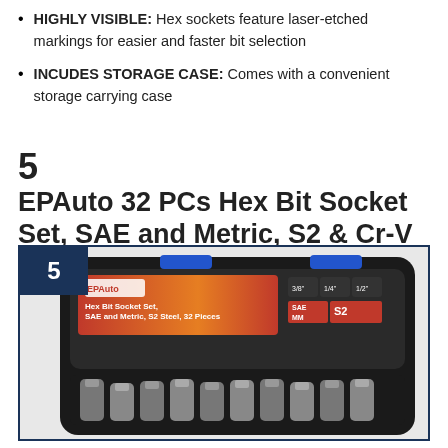HIGHLY VISIBLE: Hex sockets feature laser-etched markings for easier and faster bit selection
INCUDES STORAGE CASE: Comes with a convenient storage carrying case
5   EPAuto 32 PCs Hex Bit Socket Set, SAE and Metric, S2 & Cr-V Steel
[Figure (photo): Product photo of EPAuto 32 PCs Hex Bit Socket Set in a black case with blue latches, showing the case open with sockets inside and product label visible. Number 5 badge in dark blue in top left corner.]